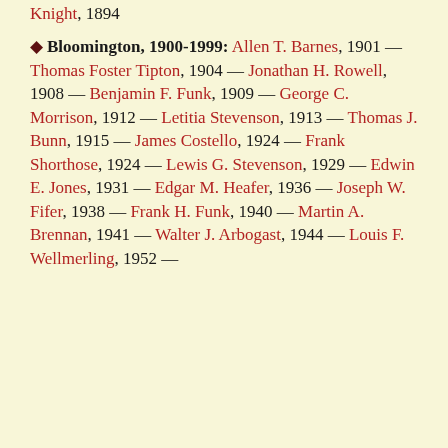Knight, 1894
Bloomington, 1900-1999: Allen T. Barnes, 1901 — Thomas Foster Tipton, 1904 — Jonathan H. Rowell, 1908 — Benjamin F. Funk, 1909 — George C. Morrison, 1912 — Letitia Stevenson, 1913 — Thomas J. Bunn, 1915 — James Costello, 1924 — Frank Shorthose, 1924 — Lewis G. Stevenson, 1929 — Edwin E. Jones, 1931 — Edgar M. Heafer, 1936 — Joseph W. Fifer, 1938 — Frank H. Funk, 1940 — Martin A. Brennan, 1941 — Walter J. Arbogast, 1944 — Louis F. Wellmerling, 1952 —